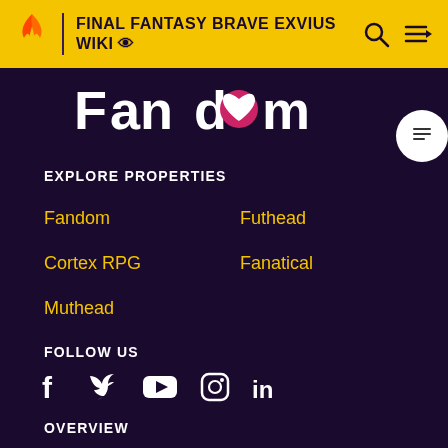FINAL FANTASY BRAVE EXVIUS WIKI
[Figure (logo): Fandom logo with heart icon in white text on dark purple background]
EXPLORE PROPERTIES
Fandom
Futhead
Cortex RPG
Fanatical
Muthead
FOLLOW US
[Figure (infographic): Social media icons: Facebook, Twitter, YouTube, Instagram, LinkedIn]
OVERVIEW
What is Fandom?
Terms of Use